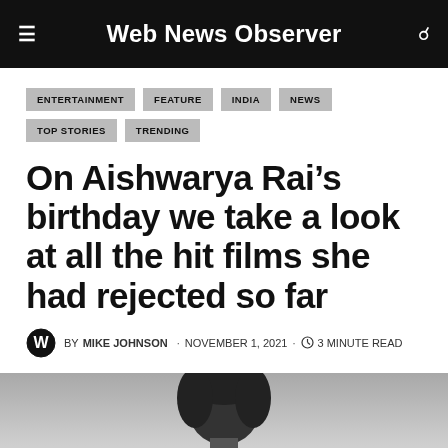Web News Observer
ENTERTAINMENT
FEATURE
INDIA
NEWS
TOP STORIES
TRENDING
On Aishwarya Rai’s birthday we take a look at all the hit films she had rejected so far
BY MIKE JOHNSON · NOVEMBER 1, 2021 · 3 MINUTE READ
[Figure (photo): Black and white photo of a woman, showing head and upper body, partially cropped]